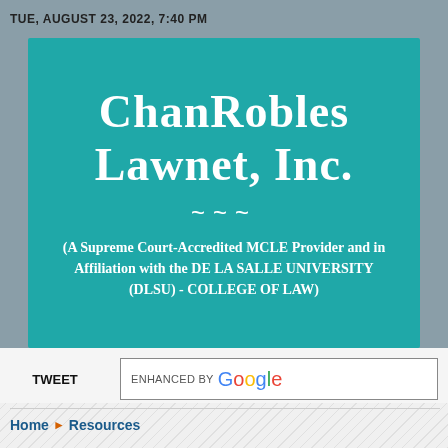TUE, AUGUST 23, 2022, 7:40 PM
[Figure (logo): ChanRobles Lawnet, Inc. logo on teal background with subtitle: (A Supreme Court-Accredited MCLE Provider and in Affiliation with the DE LA SALLE UNIVERSITY (DLSU) - COLLEGE OF LAW)]
TWEET
ENHANCED BY Google
Home ▶ Resources